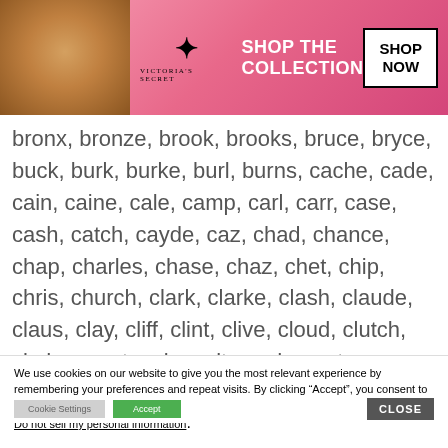[Figure (screenshot): Victoria's Secret advertisement banner with model photo, VS logo, 'SHOP THE COLLECTION' text and 'SHOP NOW' button]
brees..., brigg...
bronx, bronze, brook, brooks, bruce, bryce, buck, burk, burke, burl, burns, cache, cade, cain, caine, cale, camp, carl, carr, case, cash, catch, cayde, caz, chad, chance, chap, charles, chase, chaz, chet, chip, chris, church, clark, clarke, clash, claude, claus, clay, cliff, clint, clive, cloud, clutch, clyde, coast, cole, colt, cord, court, cove, craig, crane, cree, creed, creek, crew, crews, croix, cross, crown
We use cookies on our website to give you the most relevant experience by remembering your preferences and repeat visits. By clicking “Accept”, you consent to the use of ALL the cookies.
Do not sell my personal information.
[Figure (screenshot): Seamless food delivery advertisement banner with pizza image, Seamless logo, and 'ORDER NOW' button on dark background]
CLOSE